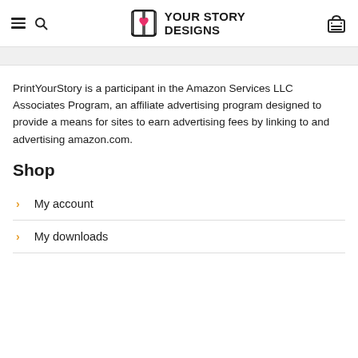YOUR STORY DESIGNS
PrintYourStory is a participant in the Amazon Services LLC Associates Program, an affiliate advertising program designed to provide a means for sites to earn advertising fees by linking to and advertising amazon.com.
Shop
My account
My downloads